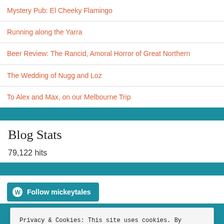Mystery Pub: El Cheeky Flamingo
Running along the Yarra
Beer Review: The Rancid, Amoral Horror of Great Northern
The Wedding of Nugg and Loz
To Alex and Max, on our Melbourne Trip
Blog Stats
79,122 hits
[Figure (other): Follow mickeytales button (WordPress follow button)]
Privacy & Cookies: This site uses cookies. By continuing to use this website, you agree to their use. To find out more, including how to control cookies, see here: Cookie Policy
Close and accept